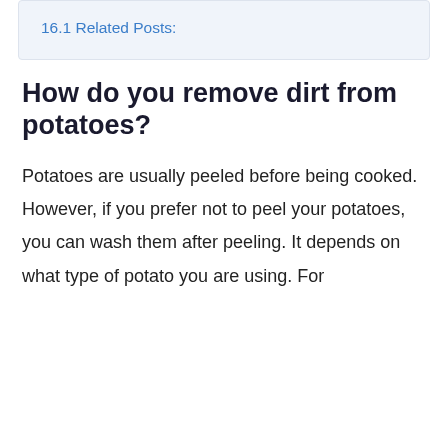16.1 Related Posts:
How do you remove dirt from potatoes?
Potatoes are usually peeled before being cooked. However, if you prefer not to peel your potatoes, you can wash them after peeling. It depends on what type of potato you are using. For